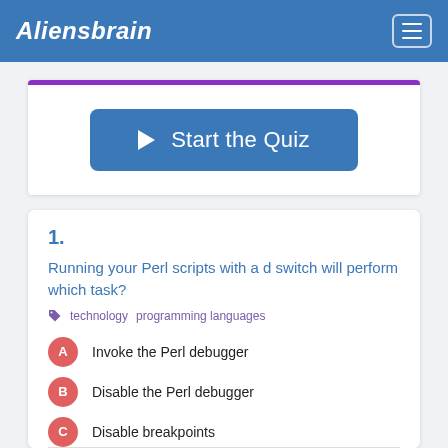Aliensbrain
Start the Quiz
1.
Running your Perl scripts with a d switch will perform which task?
technology  programming languages
A  Invoke the Perl debugger
B  Disable the Perl debugger
C  Disable breakpoints
D  Display a stack trace